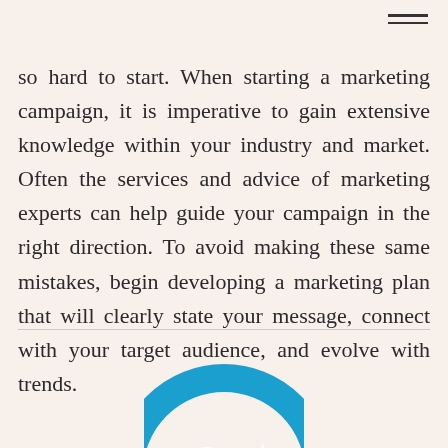so hard to start. When starting a marketing campaign, it is imperative to gain extensive knowledge within your industry and market. Often the services and advice of marketing experts can help guide your campaign in the right direction. To avoid making these same mistakes, begin developing a marketing plan that will clearly state your message, connect with your target audience, and evolve with trends.
[Figure (logo): Partial blue circular logo visible at the bottom of the page]